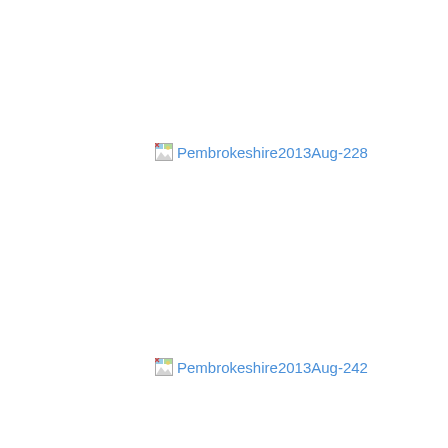[Figure (photo): Broken image placeholder with link text: Pembrokeshire2013Aug-228]
[Figure (photo): Broken image placeholder with link text: Pembrokeshire2013Aug-242]